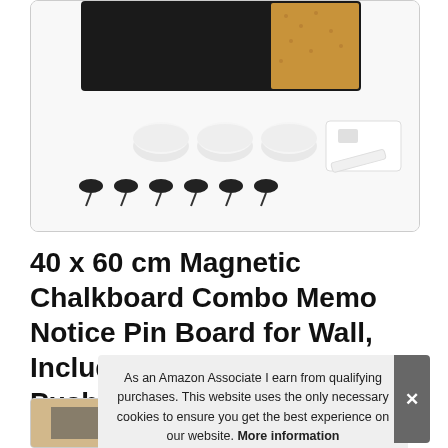[Figure (photo): Product photo showing a magnetic chalkboard combo board with accessories: three white cylindrical magnets, six black push pins, and a white chalk box with chalk piece]
40 x 60 cm Magnetic Chalkboard Combo Memo Notice Pin Board for Wall, Includes Chalk, Magnets, Push Pins, Co...
As an Amazon Associate I earn from qualifying purchases. This website uses the only necessary cookies to ensure you get the best experience on our website. More information